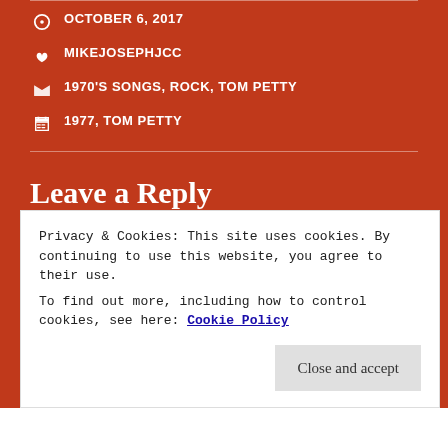OCTOBER 6, 2017
MIKEJOSEPHJCC
1970'S SONGS, ROCK, TOM PETTY
1977, TOM PETTY
Leave a Reply
Your email address will not be published. Required
Privacy & Cookies: This site uses cookies. By continuing to use this website, you agree to their use.
To find out more, including how to control cookies, see here: Cookie Policy
Close and accept